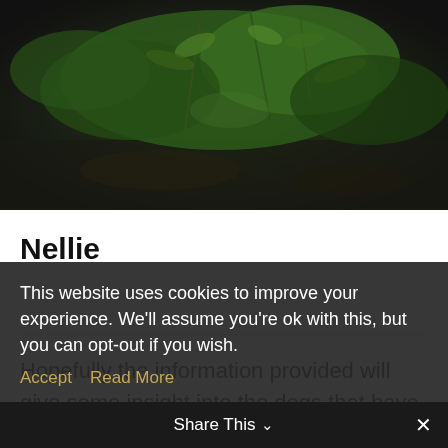[Figure (photo): A nature photograph showing green plants, ferns, and foliage on dark ground, partially cropped at top]
Nellie
Hopefully the information provided will give some insight into the dogs that have this far helped shape and develop my journey as a
This website uses cookies to improve your experience. We'll assume you're ok with this, but you can opt-out if you wish.
Accept   Read More
Share This